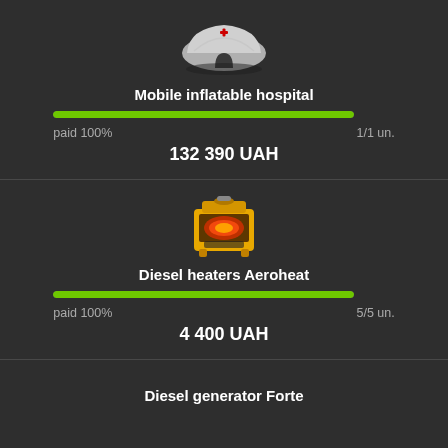[Figure (illustration): Mobile inflatable hospital tent with red cross, white inflatable structure]
Mobile inflatable hospital
[Figure (infographic): Green progress bar at 100%]
paid 100%    1/1 un.
132 390 UAH
[Figure (illustration): Yellow diesel heater Aeroheat unit]
Diesel heaters Aeroheat
[Figure (infographic): Green progress bar at 100%]
paid 100%    5/5 un.
4 400 UAH
Diesel generator Forte